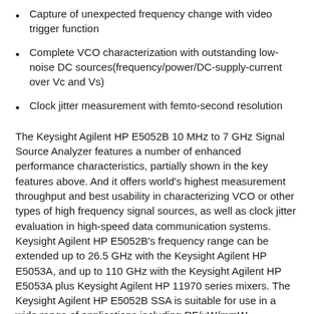Capture of unexpected frequency change with video trigger function
Complete VCO characterization with outstanding low-noise DC sources(frequency/power/DC-supply-current over Vc and Vs)
Clock jitter measurement with femto-second resolution
The Keysight Agilent HP E5052B 10 MHz to 7 GHz Signal Source Analyzer features a number of enhanced performance characteristics, partially shown in the key features above. And it offers world's highest measurement throughput and best usability in characterizing VCO or other types of high frequency signal sources, as well as clock jitter evaluation in high-speed data communication systems. Keysight Agilent HP E5052B's frequency range can be extended up to 26.5 GHz with the Keysight Agilent HP E5053A, and up to 110 GHz with the Keysight Agilent HP E5053A plus Keysight Agilent HP 11970 series mixers. The Keysight Agilent HP E5052B SSA is suitable for use in a wide range of applications including RF/uW/mmW oscillators, VCO's, system reference clocks, LAN modules, high-speed timing modules, SerDes chips, and high-speed data